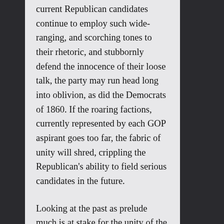current Republican candidates continue to employ such wide-ranging, and scorching tones to their rhetoric, and stubbornly defend the innocence of their loose talk, the party may run head long into oblivion, as did the Democrats of 1860. If the roaring factions, currently represented by each GOP aspirant goes too far, the fabric of unity will shred, crippling the Republican's ability to field serious candidates in the future.
Looking at the past as prelude much is at stake for the unity of the GOP. In 1860 party divisions nearly destroyed the Democrats, propelling the nation into a bloody civil war. And though Republicans at that time elected our greatest Chief Executive,